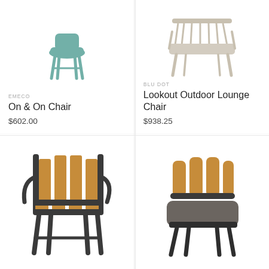[Figure (photo): Teal/sage green stackable outdoor dining chair (Emeco On & On Chair) on white background]
EMECO
On & On Chair
$602.00
[Figure (photo): Light beige/natural rope outdoor lounge chair with woven back (Blu Dot Lookout Outdoor Lounge Chair) on white background]
BLU DOT
Lookout Outdoor Lounge Chair
$938.25
[Figure (photo): Dark charcoal metal frame armchair with teak wood slatted seat and back on white background]
[Figure (photo): Dark metal legged lounge chair with teak wood slatted back and dark grey upholstered seat cushion on white background]